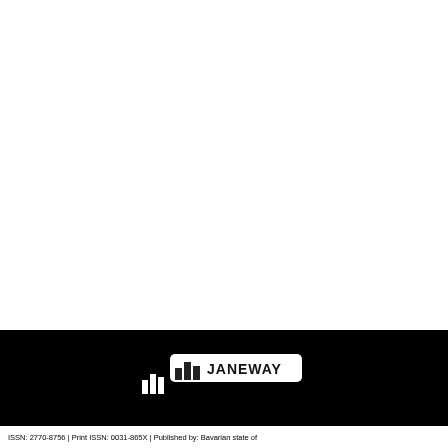[Figure (logo): Janeway publisher logo — white bar chart icon with a white rectangular banner, text 'JANEWAY' in white, on a black background band]
ISSN: 2770-8756 | Print ISSN: 0031-865X | Published by: Bavarian state of